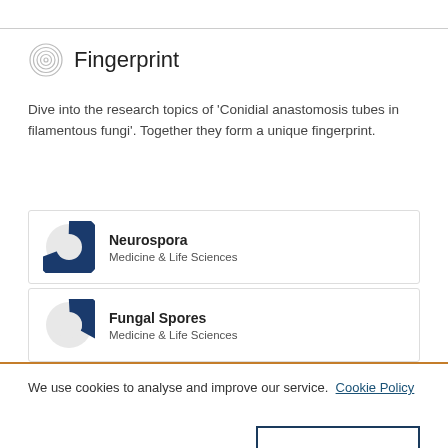Fingerprint
Dive into the research topics of 'Conidial anastomosis tubes in filamentous fungi'. Together they form a unique fingerprint.
[Figure (infographic): Donut-style percentage circle for Neurospora, approximately 70% filled dark navy blue. Label: Neurospora, Medicine & Life Sciences]
[Figure (infographic): Donut-style percentage circle for Fungal Spores, approximately 40% filled dark navy blue. Label: Fungal Spores, Medicine & Life Sciences]
We use cookies to analyse and improve our service. Cookie Policy